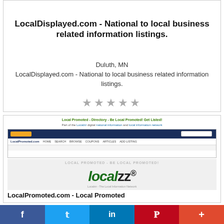Home Bartoreo | Information SEO | Listings SEO | Listingz | Locale 101 | Locale HQ | Locale Daily | Localzz 101 | Spotlightz | Brandfosters | Bartoreo | M&A Featured | Adverting Direct | Advertising Products | Advertising Services | Advertising Specialists
LocalDisplayed.com - National to local business related information listings.
Duluth, MN
LocalDisplayed.com - National to local business related information listings.
★★★★★
[Figure (screenshot): Screenshot of LocalPromoted.com directory website with header bar, navigation links (HOME, SEARCH, BROWSE, COUPONS, ARTICLES, ADD LISTING), and Localzz logo overlay]
LocalPromoted.com - Local Promoted